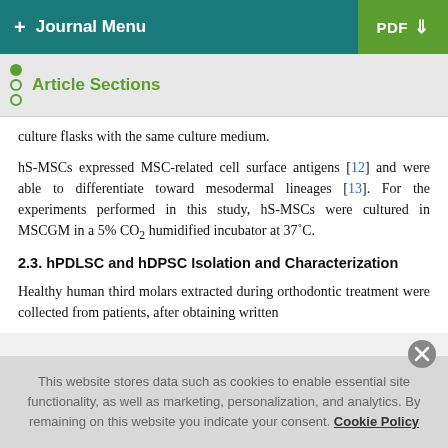+ Journal Menu   PDF ↓
Article Sections
culture flasks with the same culture medium.
hS-MSCs expressed MSC-related cell surface antigens [12] and were able to differentiate toward mesodermal lineages [13]. For the experiments performed in this study, hS-MSCs were cultured in MSCGM in a 5% CO₂ humidified incubator at 37°C.
2.3. hPDLSC and hDPSC Isolation and Characterization
Healthy human third molars extracted during orthodontic treatment were collected from patients, after obtaining written
This website stores data such as cookies to enable essential site functionality, as well as marketing, personalization, and analytics. By remaining on this website you indicate your consent. Cookie Policy